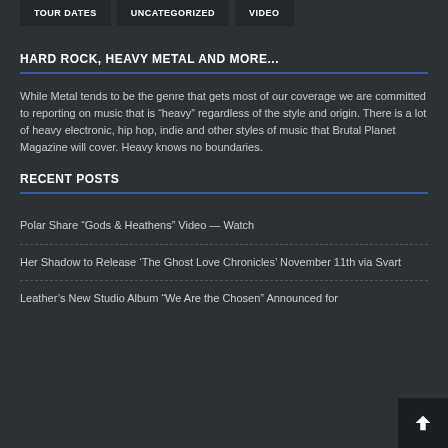TOUR DATES
UNCATEGORIZED
VIDEO
HARD ROCK, HEAVY METAL AND MORE...
While Metal tends to be the genre that gets most of our coverage we are committed to reporting on music that is “heavy” regardless of the style and origin. There is a lot of heavy electronic, hip hop, indie and other styles of music that Brutal Planet Magazine will cover. Heavy knows no boundaries.
RECENT POSTS
Polar Share “Gods & Heathens” Video — Watch
Her Shadow to Release ‘The Ghost Love Chronicles’ November 11th via Svart
Leather’s New Studio Album “We Are the Chosen” Announced for